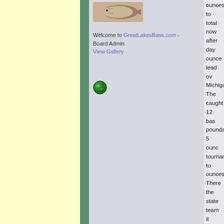[Figure (photo): Fish image at top of center panel]
Welcome to GreatLakesBass.com - Board Admin
View Gallery
[Figure (illustration): Globe icon]
ounces to total now after day ounce lead ov Michigan. The caught 12 bas pounds 5 ounc tournament to ounces. There the state team it should come team Indiana v divisionals cha
The Ohio state catching 12 ba 27 pounds 12 pounds 4 ounc 4th. They also weighing 30 p tournament to ounces.
Illinois is 5th w weighing 16 p pounds 15 our Wisconsin sta and last place weighed 14 po